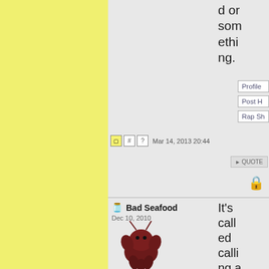[Figure (screenshot): Forum/message board screenshot. Left side has a yellow textured background panel. Right side shows two forum posts. Top post (cropped) shows text 'd or something.' with Profile, Post H, Rap Sh buttons, QUOTE button, lock icon, and timestamp 'Mar 14, 2013 20:44'. Bottom post shows user 'Bad Seafood' (joined Dec 10, 2010) with text 'It's called calling a shot' and a cartoon lobster/crab avatar image.]